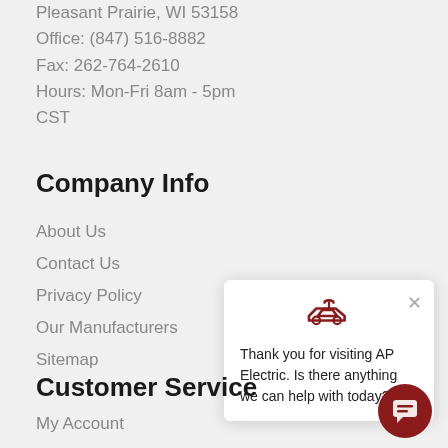Pleasant Prairie, WI 53158
Office: (847) 516-8882
Fax: 262-764-2610
Hours: Mon-Fri 8am - 5pm
CST
Company Info
About Us
Contact Us
Privacy Policy
Our Manufacturers
Sitemap
[Figure (screenshot): Chat popup widget with AP Electric logo icon and message: Thank you for visiting AP Electric. Is there anything we can help with today?]
Customer Service
My Account